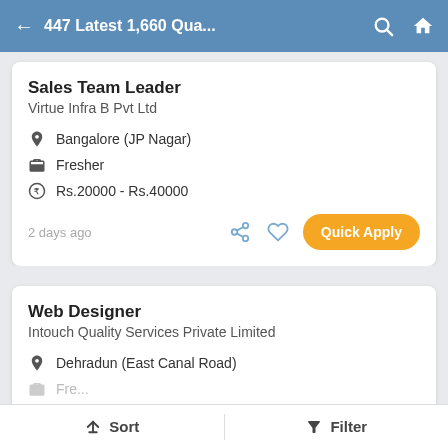447 Latest 1,660 Qua...
Sales Team Leader
Virtue Infra B Pvt Ltd
Bangalore (JP Nagar)
Fresher
Rs.20000 - Rs.40000
2 days ago
Web Designer
Intouch Quality Services Private Limited
Dehradun (East Canal Road)
Sort   Filter